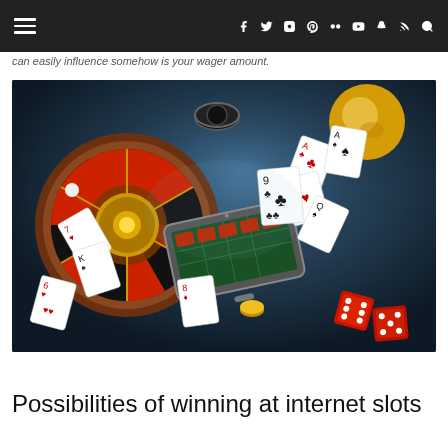≡  f  t  Instagram  Pinterest  Flickr  YouTube  Snapchat  RSS  Search
can easily influence somehow is your wager amount.
[Figure (photo): Online casino illustration showing a smartphone with a roulette table on screen, surrounded by flying playing cards, casino chips, dice, and a roulette wheel against a dark blue background.]
Possibilities of winning at internet slots